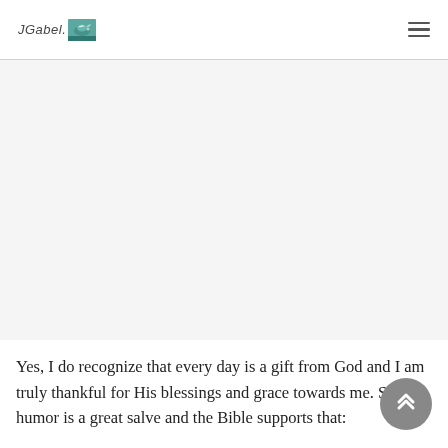JGabel. [logo image] ☰
[Figure (photo): Large image area, mostly white/blank in this crop]
Yes, I do recognize that every day is a gift from God and I am truly thankful for His blessings and grace towards me. Still humor is a great salve and the Bible supports that: